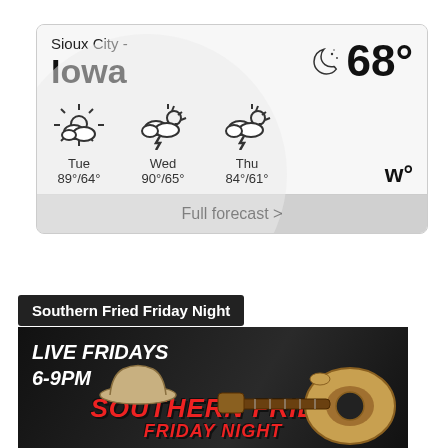[Figure (infographic): Weather widget for Sioux City, Iowa showing current temperature 68° (night/moon icon) and 3-day forecast: Tue 89°/64° (partly cloudy), Wed 90°/65° (thunderstorm), Thu 84°/61° (thunderstorm), with Full forecast > button and W° logo]
Full forecast >
Southern Fried Friday Night
[Figure (photo): Promotional image on black background showing an acoustic guitar and cowboy hat with text 'LIVE FRIDAYS 6-9PM' and 'SOUTHERN FRIED FRIDAY NIGHT' in red italic lettering]